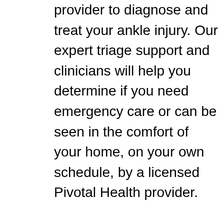provider to diagnose and treat your ankle injury. Our expert triage support and clinicians will help you determine if you need emergency care or can be seen in the comfort of your home, on your own schedule, by a licensed Pivotal Health provider. Pivotal Health clinicians evaluate ankle sprains and fractures, can order X-rays to be performed right in the home (if appropriate), prescribe medications, order physical therapy, and create a treatment plan for you. All Pivotal Health clinician visits feature follow-up consultation so you can feel confident that your injury receives the best care.